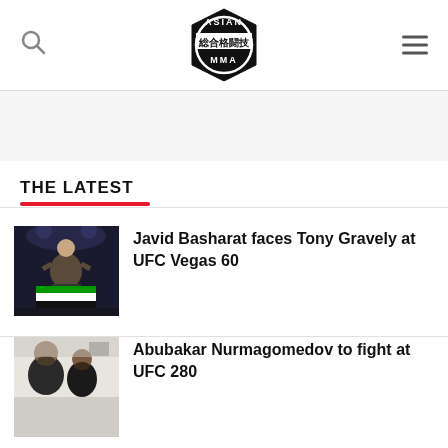[Figure (logo): Asian MMA logo — hexagonal badge with Japanese kanji 総合格闘技 and text ASIAN MMA]
THE LATEST
[Figure (photo): Fighter celebrating in ring holding Afghan flag]
Javid Basharat faces Tony Gravely at UFC Vegas 60
[Figure (photo): Two men posing together for a photo]
Abubakar Nurmagomedov to fight at UFC 280